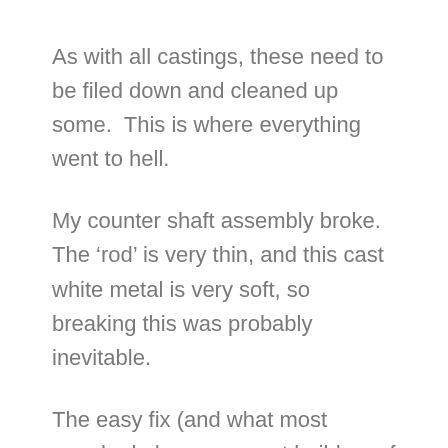As with all castings, these need to be filed down and cleaned up some.  This is where everything went to hell.
My counter shaft assembly broke.  The ‘rod’ is very thin, and this cast white metal is very soft, so breaking this was probably inevitable.
The easy fix (and what most people do here, as most builders of this kit have had the same problem) is to simply cut off the